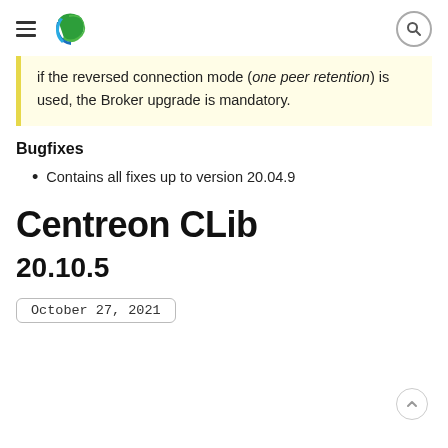Centreon logo and navigation header
If the reversed connection mode (one peer retention) is used, the Broker upgrade is mandatory.
Bugfixes
Contains all fixes up to version 20.04.9
Centreon CLib
20.10.5
October 27, 2021